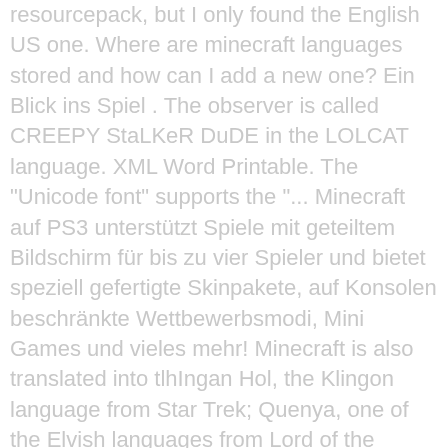resourcepack, but I only found the English US one. Where are minecraft languages stored and how can I add a new one? Ein Blick ins Spiel . The observer is called CREEPY StaLKeR DuDE in the LOLCAT language. XML Word Printable. The "Unicode font" supports the "... Minecraft auf PS3 unterstützt Spiele mit geteiltem Bildschirm für bis zu vier Spieler und bietet speziell gefertigte Skinpakete, auf Konsolen beschränkte Wettbewerbsmodi, Mini Games und vieles mehr! Minecraft is also translated into tlhIngan Hol, the Klingon language from Star Trek; Quenya, one of the Elvish languages from Lord of the Rings; Lojban, a conlang made by the LLC (Logical Language Group); and Esperanto, a conlang created by L.L. Press J to jump to the feed. Understanding the zero current in a simple circuit. If a player types "excitedze" into the search bar in the recipe book, th... Archived. Today we take a look at Minecraft 1.9.1 Pre-release 3. Everything that you can do in Bedrock Minecraft on PS4 you can now experience in 3D on PSVR. In the resource pack go to assets/minecraft/lang folder. Something went wrong. Wir zeigen Ihnen, wie's geht. Please don't leave